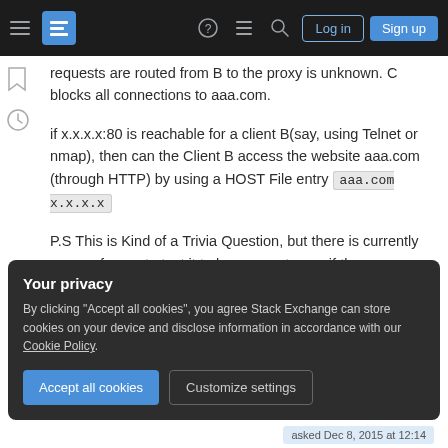Stack Exchange navigation bar with Log in and Sign up buttons
requests are routed from B to the proxy is unknown. C blocks all connections to aaa.com.
if x.x.x.x:80 is reachable for a client B(say, using Telnet or nmap), then can the Client B access the website aaa.com (through HTTP) by using a HOST File entry aaa.com x.x.x.x
P.S This is Kind of a Trivia Question, but there is currently no way for me to test it to be sure or to see if there are any specific challenges here.
Your privacy
By clicking "Accept all cookies", you agree Stack Exchange can store cookies on your device and disclose information in accordance with our Cookie Policy.
Accept all cookies   Customize settings
asked Dec 8, 2015 at 12:14